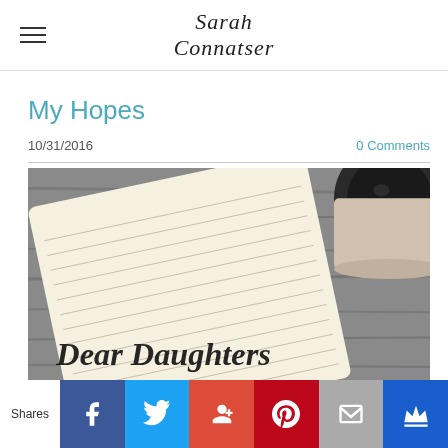Sarah Connatser
My Hopes
10/31/2016
0 Comments
[Figure (photo): Overhead photo of a lined notebook and a cup of coffee on a wooden table, with cursive script text reading 'Dear Daughters' overlaid at the bottom.]
Shares | Facebook | Twitter | Google+ | Pinterest | Email | Crown